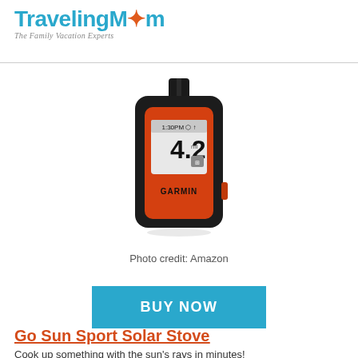TravelingMom - The Family Vacation Experts
[Figure (photo): Garmin inReach Mini GPS satellite communicator device in black and red, showing a screen with 4.2 miles distance reading]
Photo credit: Amazon
BUY NOW
Go Sun Sport Solar Stove
Cook up something with the sun's rays in minutes!